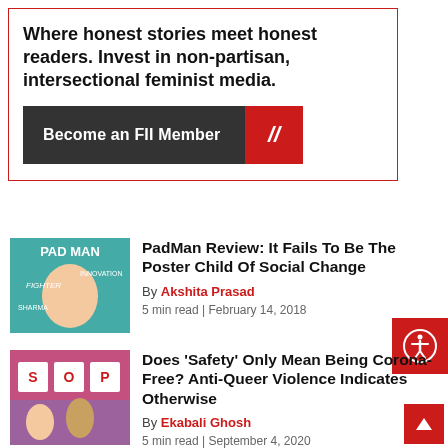Where honest stories meet honest readers. Invest in non-partisan, intersectional feminist media.
Become an FII Member
PadMan Review: It Fails To Be The Poster Child Of Social Change
By Akshita Prasad
5 min read | February 14, 2018
Does ‘Safety’ Only Mean Being Corona-Free? Anti-Queer Violence Indicates Otherwise
By Ekabali Ghosh
5 min read | September 4, 2020